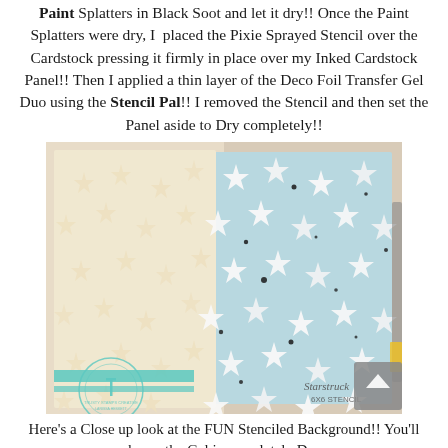Paint Splatters in Black Soot and let it dry!! Once the Paint Splatters were dry, I placed the Pixie Sprayed Stencil over the Cardstock pressing it firmly in place over my Inked Cardstock Panel!! Then I applied a thin layer of the Deco Foil Transfer Gel Duo using the Stencil Pal!! I removed the Stencil and then set the Panel aside to Dry completely!!
[Figure (photo): Close up photo showing a star stencil (Starstruck 6x6 Stencil) placed over a light blue cardstock panel with embossed star shapes and black paint splatters. The stencil shows cream/beige stars on the left and the blue panel with white dimensional stars and black splatter dots on the right. A product bottle is visible at the far right edge. A circular stamp logo for Larissa Heskett / Trusty Stamps Creative is visible at the bottom left.]
Here's a Close up look at the FUN Stenciled Background!! You'll know the Gel is completely Dry